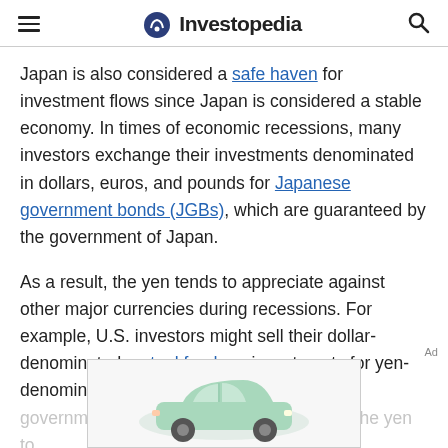Investopedia
Japan is also considered a safe haven for investment flows since Japan is considered a stable economy. In times of economic recessions, many investors exchange their investments denominated in dollars, euros, and pounds for Japanese government bonds (JGBs), which are guaranteed by the government of Japan.
As a result, the yen tends to appreciate against other major currencies during recessions. For example, U.S. investors might sell their dollar-denominated mutual funds or investments for yen-denominated Japanese government bonds, and in doing so, cause the yen to
[Figure (other): Advertisement banner at the bottom of the page showing a mint green car illustration]